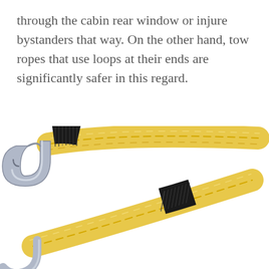through the cabin rear window or injure bystanders that way. On the other hand, tow ropes that use loops at their ends are significantly safer in this regard.
[Figure (photo): Close-up photograph of a yellow braided tow rope with black wrapping at connection points and silver metal hooks at the ends.]